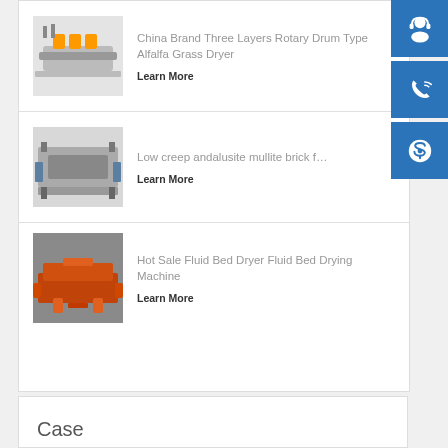[Figure (photo): Industrial rotary drum dryer machine photo]
China Brand Three Layers Rotary Drum Type Alfalfa Grass Dryer
Learn More
[Figure (photo): Large industrial press or brick forming machine]
Low creep andalusite mullite brick f…
Learn More
[Figure (photo): Orange fluid bed dryer machine]
Hot Sale Fluid Bed Dryer Fluid Bed Drying Machine
Learn More
[Figure (illustration): Headset/customer support icon in blue square]
[Figure (illustration): Phone/call icon in blue square]
[Figure (illustration): Skype icon in blue square]
Case